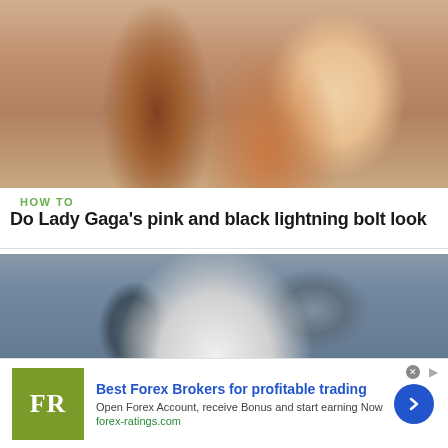[Figure (photo): Close-up photo of a woman's face and hair; she has red and blonde hair and is posing with one hand behind her head]
HOW TO
Do Lady Gaga's pink and black lightning bolt look
[Figure (photo): Photo of a woman with white cream/mask applied to her face, dark hair pulled back, looking at the camera]
[Figure (infographic): Advertisement banner: FR logo (olive green square), Best Forex Brokers for profitable trading, Open Forex Account, receive Bonus and start earning Now, forex-ratings.com, with a blue circular arrow button]